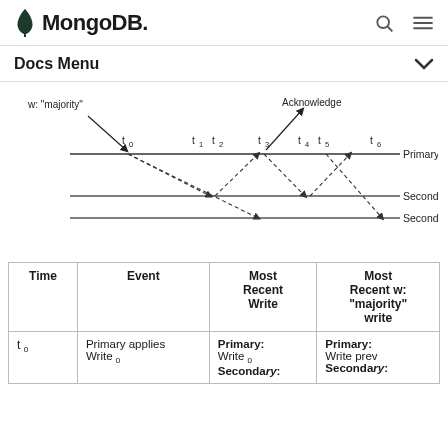MongoDB — Docs Menu
[Figure (engineering-diagram): Timing diagram showing write concern w: majority across Primary, Secondary1, and Secondary2 nodes. Time points t0 through t6 are shown with dashed arrows indicating replication from Primary to secondaries and acknowledgement arrows back. Labels: w: majority, Acknowledge, Primary, Secondary1, Secondary2.]
| Time | Event | Most Recent Write | Most Recent w: "majority" write |
| --- | --- | --- | --- |
| t 0 | Primary applies Write 0 | Primary: Write 0
Secondary: | Primary: Write prev
Secondary: |